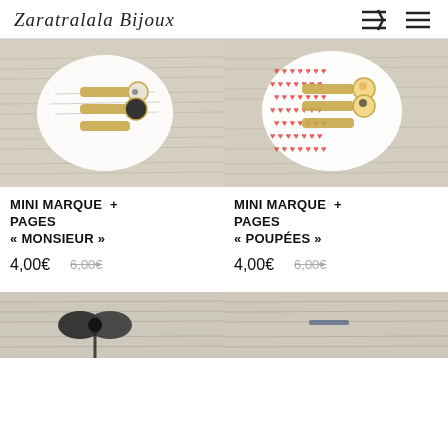Zaratralala Bijoux
[Figure (photo): Bookmark jewelry product on sheet music background - Monsieur style with black and white crystal cabochons on scalloped paper]
[Figure (photo): Bookmark jewelry product on sheet music background - Poupees style with Russian doll cabochons on red hearts scalloped paper]
MINI MARQUE + PAGES « MONSIEUR »
4,00€   6,00€
MINI MARQUE + PAGES « POUPÉES »
4,00€   6,00€
[Figure (photo): Bottom left product photo partially visible - sheet music with dark ribbon]
[Figure (photo): Bottom right product photo partially visible - sheet music]